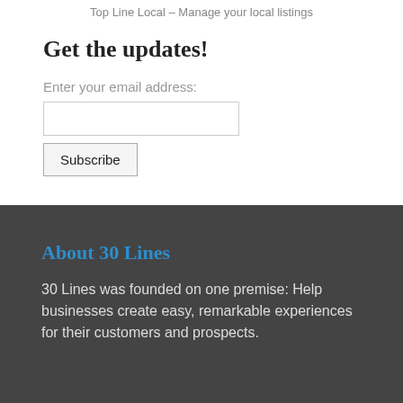Top Line Local – Manage your local listings
Get the updates!
Enter your email address:
About 30 Lines
30 Lines was founded on one premise: Help businesses create easy, remarkable experiences for their customers and prospects.